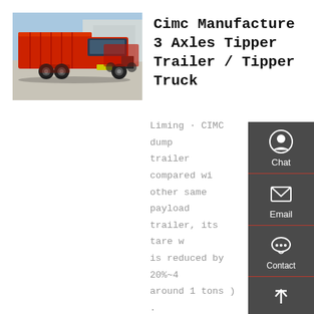[Figure (photo): Red CIMC dump truck / tipper truck photographed in a yard area with buildings in background]
Cimc Manufacture 3 Axles Tipper Trailer / Tipper Truck
Liming · CIMC dump trailer compared with other same payload dump trailer, its tare weight is reduced by 20%~40% ( around 1 tons ) . Correspondingly, the fuel consumption is 4-5 L less within a 100km distance . 3. Fast